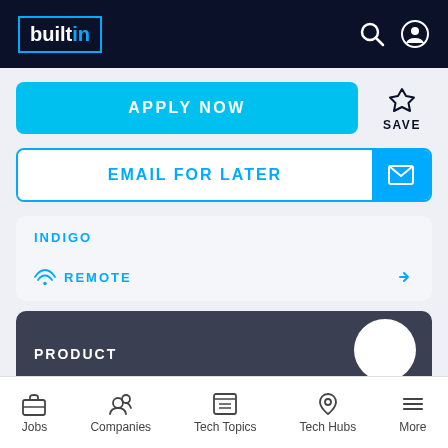builtin
APPLY NOW
SAVE
EMAIL FOR LATER
INDIGO
REMOTE
PRODUCT
Staff Technical Product Manager, Applied AI
Jobs | Companies | Tech Topics | Tech Hubs | More